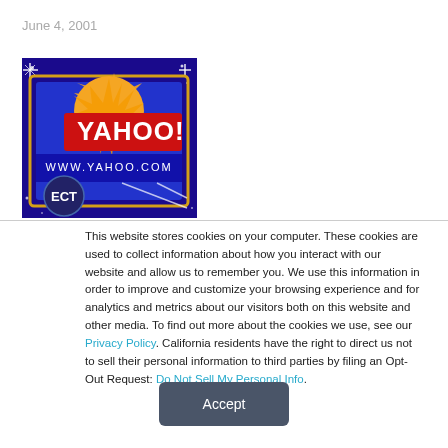June 4, 2001
[Figure (logo): Yahoo! logo banner with ECT branding on a blue starry background showing a TV screen with the Yahoo! logo and www.yahoo.com URL]
This website stores cookies on your computer. These cookies are used to collect information about how you interact with our website and allow us to remember you. We use this information in order to improve and customize your browsing experience and for analytics and metrics about our visitors both on this website and other media. To find out more about the cookies we use, see our Privacy Policy. California residents have the right to direct us not to sell their personal information to third parties by filing an Opt-Out Request: Do Not Sell My Personal Info.
Accept